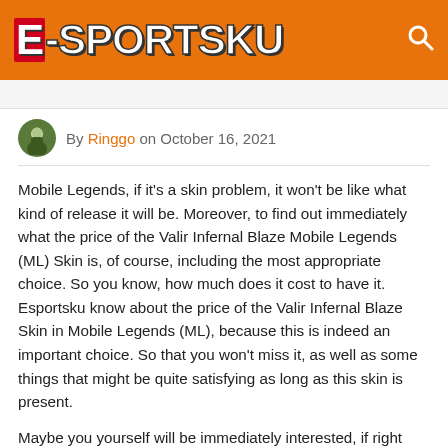E-SPORTSKU
By Ringgo on October 16, 2021
Mobile Legends, if it's a skin problem, it won't be like what kind of release it will be. Moreover, to find out immediately what the price of the Valir Infernal Blaze Mobile Legends (ML) Skin is, of course, including the most appropriate choice. So you know, how much does it cost to have it. Esportsku know about the price of the Valir Infernal Blaze Skin in Mobile Legends (ML), because this is indeed an important choice. So that you won't miss it, as well as some things that might be quite satisfying as long as this skin is present.
Maybe you yourself will be immediately interested, if right now there are indeed many Skins that are present in the Mobile Legends game. Of course, we can't miss his presence at all, because it will make you more interested in playing.